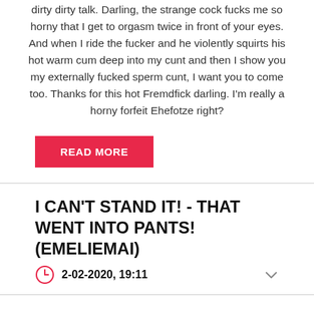dirty dirty talk. Darling, the strange cock fucks me so horny that I get to orgasm twice in front of your eyes. And when I ride the fucker and he violently squirts his hot warm cum deep into my cunt and then I show you my externally fucked sperm cunt, I want you to come too. Thanks for this hot Fremdfick darling. I'm really a horny forfeit Ehefotze right?
READ MORE
I CAN'T STAND IT! - THAT WENT INTO PANTS! (EMELIEMAI)
2-02-2020, 19:11
Finally a really nice day to relax. I play my favorite game a bit and have invited a friend to my house. Of course, there is also a drink or two. Slowly it starts to press on the bladder with